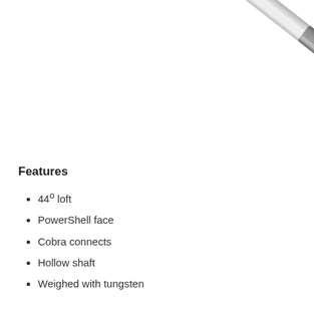[Figure (photo): Close-up photo of a golf club shaft, metallic silver with a grey connector band, angled diagonally from upper right toward lower right, on a white background.]
Features
44° loft
PowerShell face
Cobra connects
Hollow shaft
Weighed with tungsten